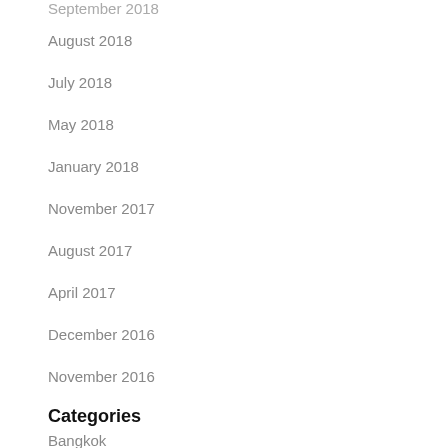September 2018
August 2018
July 2018
May 2018
January 2018
November 2017
August 2017
April 2017
December 2016
November 2016
Categories
Bangkok
Funding